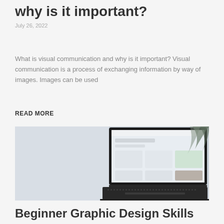why is it important?
July 26, 2022
What is visual communication and why is it important? Visual communication is a process of exchanging information by way of images. Images can be used
READ MORE
[Figure (photo): A laptop computer displayed on a light background, showing a website or design interface on its screen, with a plant visible on the right side. The laptop keyboard is visible in the foreground.]
Beginner Graphic Design Skills